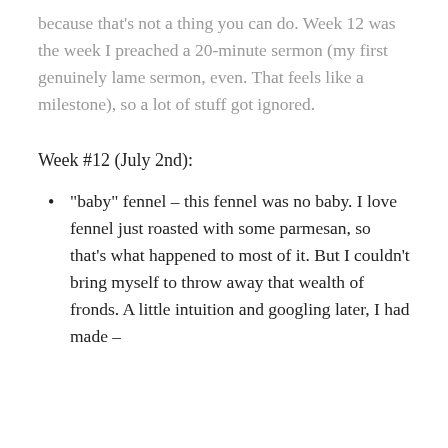because that's not a thing you can do. Week 12 was the week I preached a 20-minute sermon (my first genuinely lame sermon, even. That feels like a milestone), so a lot of stuff got ignored.
Week #12 (July 2nd):
“baby” fennel – this fennel was no baby. I love fennel just roasted with some parmesan, so that’s what happened to most of it. But I couldn’t bring myself to throw away that wealth of fronds. A little intuition and googling later, I had made –